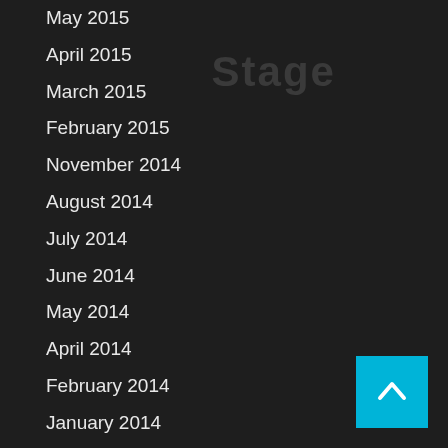May 2015
April 2015
March 2015
February 2015
November 2014
August 2014
July 2014
June 2014
May 2014
April 2014
February 2014
January 2014
October 2013
October 2012